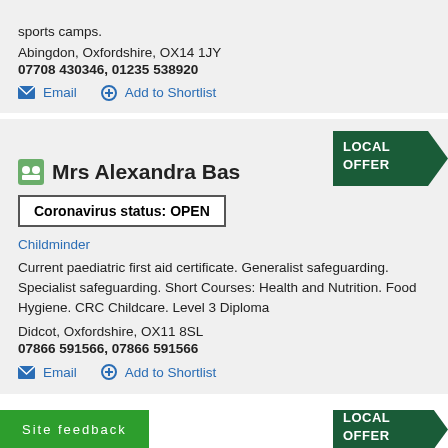sports camps.
Abingdon, Oxfordshire, OX14 1JY
07708 430346, 01235 538920
Email   Add to Shortlist
Mrs Alexandra Bas
Coronavirus status: OPEN
Childminder
Current paediatric first aid certificate. Generalist safeguarding. Specialist safeguarding. Short Courses: Health and Nutrition. Food Hygiene. CRC Childcare. Level 3 Diploma
Didcot, Oxfordshire, OX11 8SL
07866 591566, 07866 591566
Email   Add to Shortlist
Site feedback